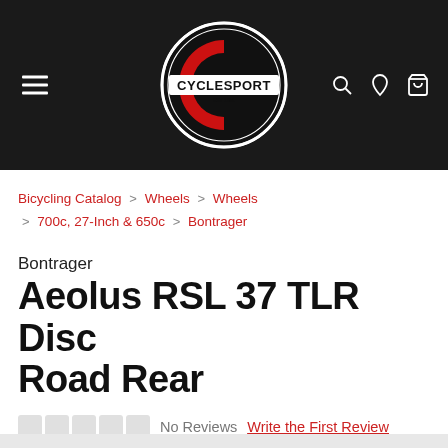[Figure (logo): Cyclesport logo: circular badge with large red C shape and 'CYCLESPORT EST 1991' text, black background header with hamburger menu on left and search/location/cart icons on right]
Bicycling Catalog > Wheels > Wheels > 700c, 27-Inch & 650c > Bontrager
Bontrager
Aeolus RSL 37 TLR Disc Road Rear
No Reviews  Write the First Review